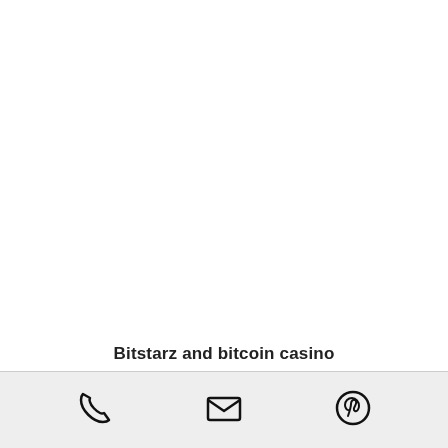Bitstarz and bitcoin casino...
[Figure (infographic): Bottom navigation bar with three icons: phone/call icon, email/envelope icon, and Pinterest icon]